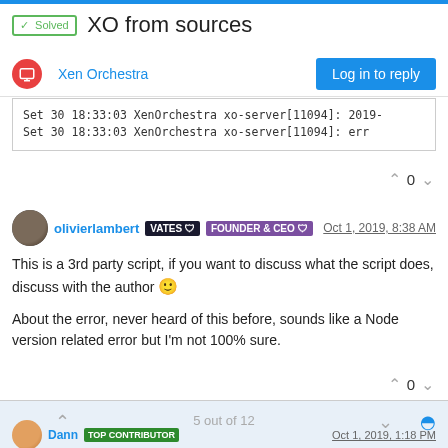XO from sources
Xen Orchestra
Set 30 18:33:03 XenOrchestra xo-server[11094]: 2019-
Set 30 18:33:03 XenOrchestra xo-server[11094]:    err
olivierlambert VATES FOUNDER & CEO   Oct 1, 2019, 8:38 AM
This is a 3rd party script, if you want to discuss what the script does, discuss with the author 🙂

About the error, never heard of this before, sounds like a Node version related error but I'm not 100% sure.
5 out of 12
Dann   TOP CONTRIBUTOR   Oct 1, 2019, 1:18 PM